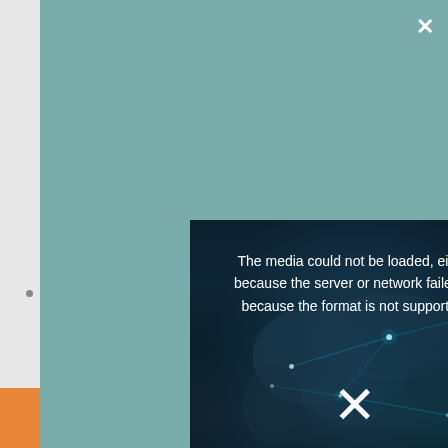[Figure (screenshot): A video player showing a media load error message over a dark world map background with network connection lines. Below the error, an X symbol and text listing IT technology categories: Cloud Computing, Data Analytics, AI & Machine Learning, IoT Solution, IT Cybersecurity, Mobile IT, Business IT, Industry IT.]
The media could not be loaded, either because the server or network failed or because the format is not supported.
Cloud Computing, Data Analytics, AI & Machine Learning, IoT Solution, IT Cybersecurity, Mobile IT,
Business IT, Industry IT,